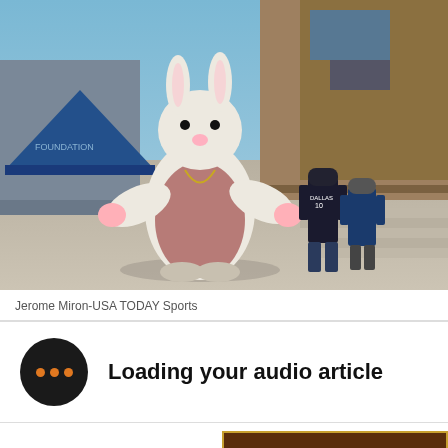[Figure (photo): Person in Easter Bunny costume standing in front of a stadium or arena entrance with steps, a blue tent visible at left, two people walking in background on the right, sunny day]
Jerome Miron-USA TODAY Sports
Loading your audio article
[Figure (logo): DAWGS BY NATURE banner/logo with gold text on dark brown background with gold border]